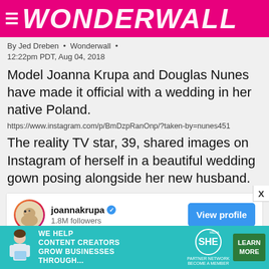WONDERWALL
By Jed Dreben • Wonderwall •
12:22pm PDT, Aug 04, 2018
Model Joanna Krupa and Douglas Nunes have made it official with a wedding in her native Poland.
https://www.instagram.com/p/BmDzpRanOnp/?taken-by=nunes451
The reality TV star, 39, shared images on Instagram of herself in a beautiful wedding gown posing alongside her new husband.
[Figure (screenshot): Instagram embed card showing joannakrupa profile with 1.8M followers and a View profile button, with a partial photo of stone arches below]
[Figure (infographic): Advertisement banner: SHE Partner Network - We help content creators grow businesses through... Become a member. Learn More button.]